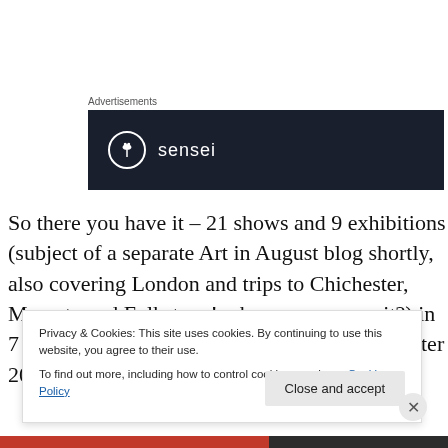Advertisements
[Figure (logo): Sensei logo on dark navy background — circle icon with tree symbol and 'sensei' text in white]
So there you have it – 21 shows and 9 exhibitions (subject of a separate Art in August blog shortly, also covering London and trips to Chichester, Margate and Folkstone! – how can you wait?) in 7 days; a bit tame by Fringe standards. Even after 20-30 years (I've lost count) I'm still
Privacy & Cookies: This site uses cookies. By continuing to use this website, you agree to their use.
To find out more, including how to control cookies, see here: Cookie Policy